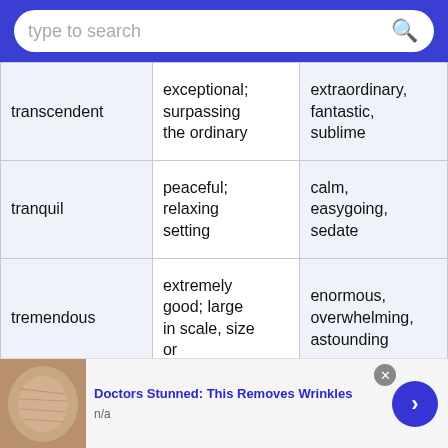[Figure (screenshot): Blue search bar with rounded white input field containing placeholder text 'type to search' and a search icon]
| transcendent | exceptional; surpassing the ordinary | extraordinary, fantastic, sublime |
| tranquil | peaceful; relaxing setting | calm, easygoing, sedate |
| tremendous | extremely good; large in scale, size or | enormous, overwhelming, astounding |
[Figure (screenshot): Advertisement bar at bottom: thumbnail image of wrinkled skin, text 'Doctors Stunned: This Removes Wrinkles' in blue bold, 'n/a' below, close button X, blue arrow button on right]